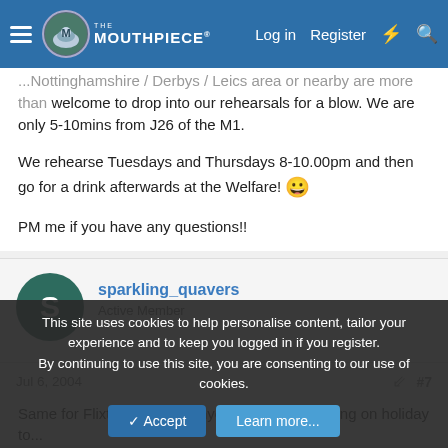The Mouthpiece - Log in | Register
...Nottinghamshire / Derbys / Leics area or nearby are more than welcome to drop into our rehearsals for a blow. We are only 5-10mins from J26 of the M1.

We rehearse Tuesdays and Thursdays 8-10.00pm and then go for a drink afterwards at the Welfare! 😀

PM me if you have any questions!!
sparkling_quavers
Active Member
Jul 6, 2004  #7
Same for Flixton (not that anyone would be coming on holiday to...
This site uses cookies to help personalise content, tailor your experience and to keep you logged in if you register.
By continuing to use this site, you are consenting to our use of cookies.